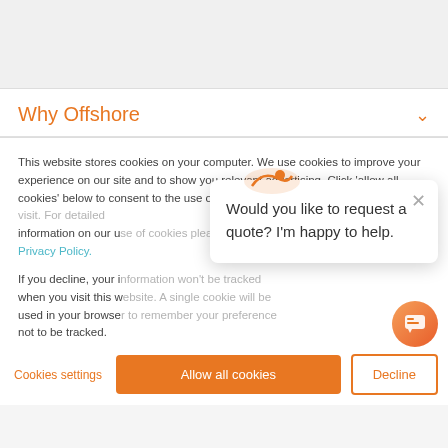Why Offshore
This website stores cookies on your computer. We use cookies to improve your experience on our site and to show you relevant advertising. Click 'allow all cookies' below to consent to the use of this technology across the pages you visit. For detailed information on our use of cookies please see our Privacy Policy.
If you decline, your information won't be tracked when you visit this website. A single cookie will be used in your browser to remember your preference not to be tracked.
Would you like to request a quote? I'm happy to help.
Cookies settings   Allow all cookies   Decline